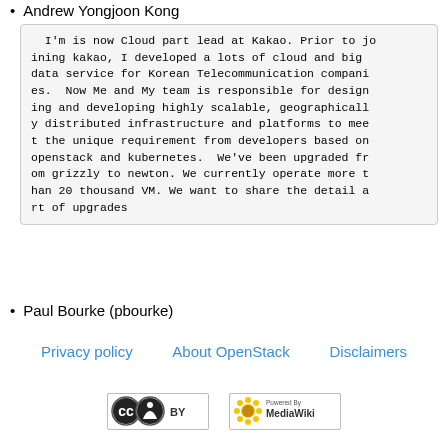Andrew Yongjoon Kong
I'm is now Cloud part lead at Kakao. Prior to joining kakao, I developed a lots of cloud and big data service for Korean Telecommunication companies.  Now Me and My team is responsible for designing and developing highly scalable, geographically distributed infrastructure and platforms to meet the unique requirement from developers based on openstack and kubernetes.  We've been upgraded from grizzly to newton. We currently operate more than 20 thousand VM. We want to share the detail art of upgrades
Paul Bourke (pbourke)
Privacy policy   About OpenStack   Disclaimers
[Figure (logo): Creative Commons BY license badge and MediaWiki powered badge]